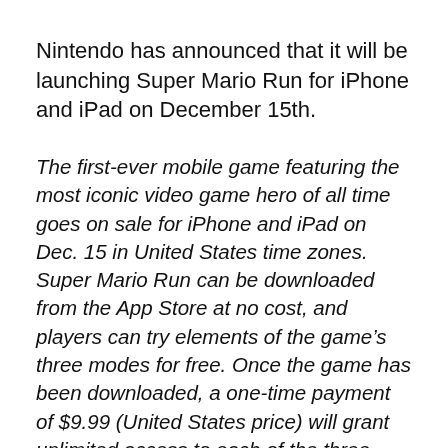Nintendo has announced that it will be launching Super Mario Run for iPhone and iPad on December 15th.
The first-ever mobile game featuring the most iconic video game hero of all time goes on sale for iPhone and iPad on Dec. 15 in United States time zones. Super Mario Run can be downloaded from the App Store at no cost, and players can try elements of the game’s three modes for free. Once the game has been downloaded, a one-time payment of $9.99 (United States price) will grant unlimited access to each of the three modes in this release.
“The wait is almost over for a Super Mario